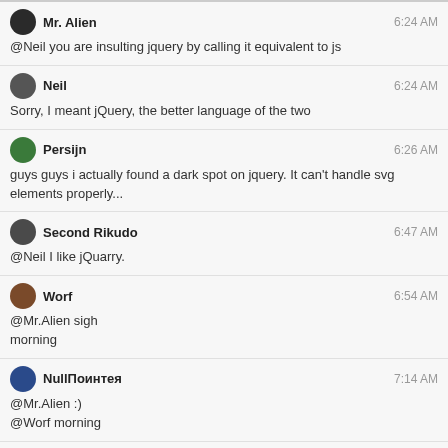Mr. Alien 6:24 AM
@Neil you are insulting jquery by calling it equivalent to js
Neil 6:24 AM
Sorry, I meant jQuery, the better language of the two
Persijn 6:26 AM
guys guys i actually found a dark spot on jquery. It can't handle svg elements properly...
Second Rikudo 6:47 AM
@Neil I like jQuarry.
Worf 6:54 AM
@Mr.Alien sigh
morning
NullПоинтея 7:14 AM
@Mr.Alien :)
@Worf morning
Neil 7:23 AM
@SecondRikudo Sigh. Unsuccessful troll. 1/10
At least I tried
Once upon a time that would have worked though
Perhaps we, as the javascript programming community, are finally learning something